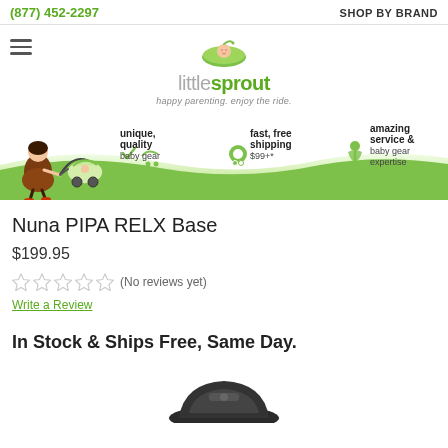(877) 452-2297 | SHOP BY BRAND
[Figure (logo): Little Sprout logo with green pea pod baby illustration and tagline 'happy parenting. enjoy the ride.']
[Figure (illustration): Banner with mother and stroller illustration, 'unique, quality baby gear', 'fast, free shipping $99+*', 'amazing service & baby gear expertise' on a green wave background]
Nuna PIPA RELX Base
$199.95
(No reviews yet)
Write a Review
In Stock & Ships Free, Same Day.
[Figure (photo): Nuna PIPA RELX Base product photo (partially visible at bottom)]